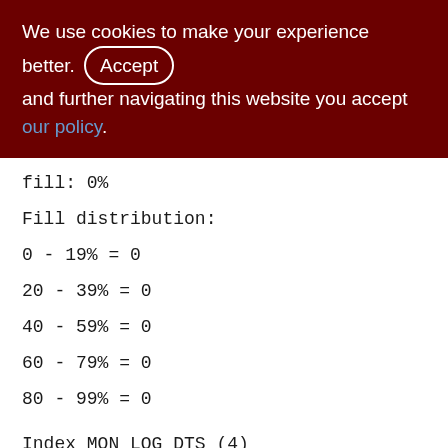We use cookies to make your experience better. By accepting and further navigating this website you accept our policy.
fill: 0%
Fill distribution:
0 - 19% = 0
20 - 39% = 0
40 - 59% = 0
60 - 79% = 0
80 - 99% = 0
Index MON_LOG_DTS (4)
Depth: 1, leaf buckets: 1, nodes: 0
Average data length: 0.00, total dup: 0, max dup: 0
Fill distribution: